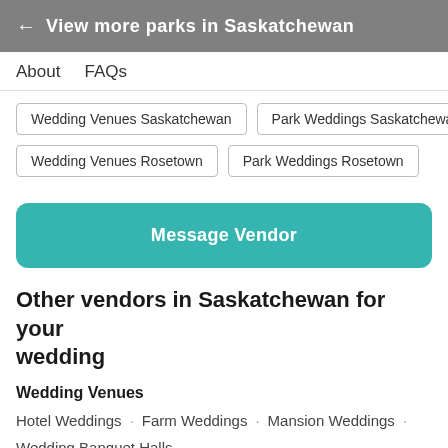← View more parks in Saskatchewan
About    FAQs
Wedding Venues Saskatchewan
Park Weddings Saskatchewan
Wedding Venues Rosetown
Park Weddings Rosetown
Message Vendor
Other vendors in Saskatchewan for your wedding
Wedding Venues
Hotel Weddings · Farm Weddings · Mansion Weddings ·
Wedding Banquet Halls